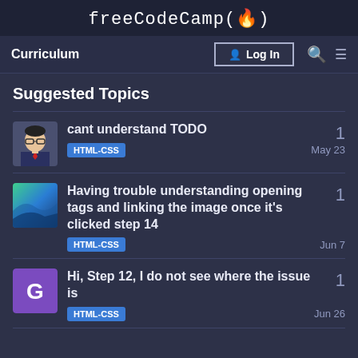freeCodeCamp(🔥)
Curriculum  Log In
Suggested Topics
cant understand TODO
HTML-CSS
1
May 23
Having trouble understanding opening tags and linking the image once it's clicked step 14
HTML-CSS
1
Jun 7
Hi, Step 12, I do not see where the issue is
HTML-CSS
1
Jun 26